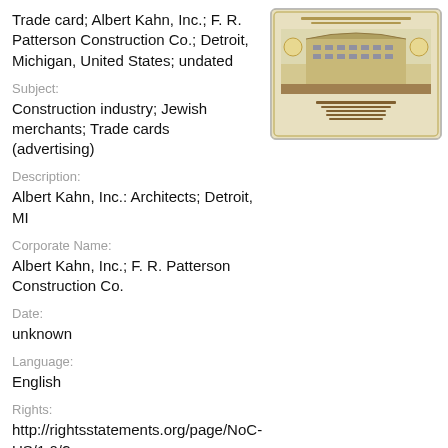Trade card; Albert Kahn, Inc.; F. R. Patterson Construction Co.; Detroit, Michigan, United States; undated
[Figure (photo): Thumbnail image of a trade card showing a building illustration, yellowed/cream colored card with decorative border, architectural drawing of a multi-story building]
Subject:
Construction industry; Jewish merchants; Trade cards (advertising)
Description:
Albert Kahn, Inc.: Architects; Detroit, MI
Corporate Name:
Albert Kahn, Inc.; F. R. Patterson Construction Co.
Date:
unknown
Language:
English
Rights:
http://rightsstatements.org/page/NoC-US/1.0/?
Collection:
Arnold and Deanne Kaplan Collection of Early American Judaica (University of Pennsylvania)